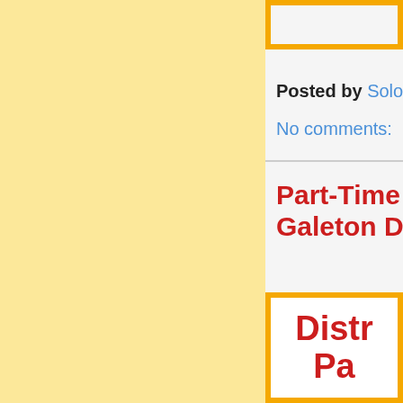[Figure (other): Top right box with orange/yellow border on white background, partially visible]
Posted by Solomon
No comments:
Part-Time Galeton D
[Figure (other): Box with orange/yellow border containing white inner box with red bold text reading 'Distr' and 'Pa' (partially visible)]